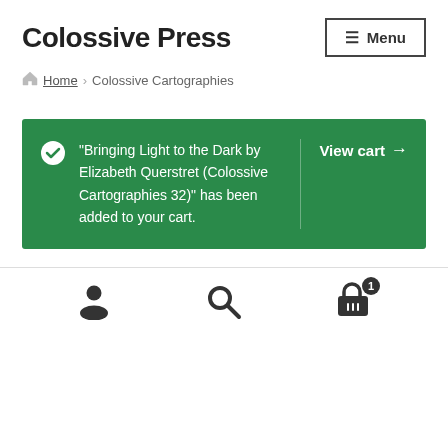Colossive Press
Home › Colossive Cartographies
"Bringing Light to the Dark by Elizabeth Querstret (Colossive Cartographies 32)" has been added to your cart. View cart →
[user icon] [search icon] [cart icon with badge 1]